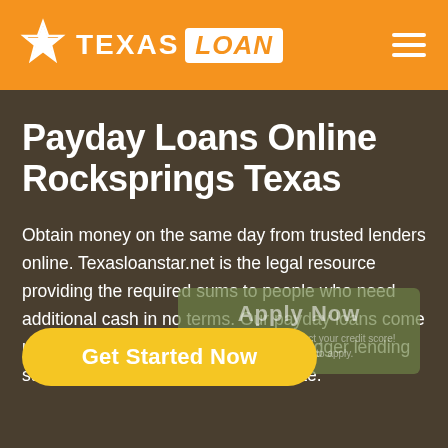TEXAS LOAN
Payday Loans Online Rocksprings Texas
Obtain money on the same day from trusted lenders online. Texasloanstar.net is the legal resource providing the required sums to people who need additional cash in no terms. Our payday loans come up with extended repayment terms, bigger lending sums, and lower APR percentage rate.
Get Started Now
Apply Now
Applying does NOT affect your credit score! No credit check to apply.